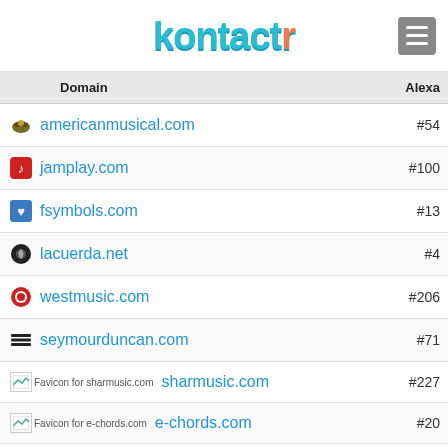[Figure (logo): kontactr logo in teal/cyan color with orange 'r' letter, followed by hamburger menu icon]
| Domain | Alexa |
| --- | --- |
| americanmusical.com | #54 |
| jamplay.com | #100 |
| fsymbols.com | #13 |
| lacuerda.net | #4 |
| westmusic.com | #206 |
| seymourduncan.com | #71 |
| sharmusic.com | #227 |
| e-chords.com | #20 |